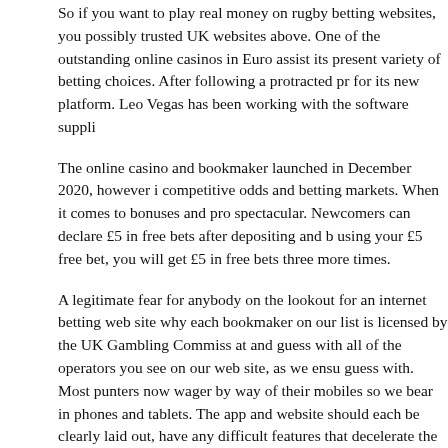So if you want to play real money on rugby betting websites, you possibly trusted UK websites above. One of the outstanding online casinos in Euro assist its present variety of betting choices. After following a protracted pr for its new platform. Leo Vegas has been working with the software suppli
The online casino and bookmaker launched in December 2020, however i competitive odds and betting markets. When it comes to bonuses and pr spectacular. Newcomers can declare £5 in free bets after depositing and using your £5 free bet, you will get £5 in free bets three more times.
A legitimate fear for anybody on the lookout for an internet betting web sit why each bookmaker on our list is licensed by the UK Gambling Commiss at and guess with all of the operators you see on our web site, as we ens guess with. Most punters now wager by way of their mobiles so we bear i phones and tablets. The app and website should each be clearly laid out, have any difficult features that decelerate the person journey, with bet365 also be wagering requirements on withdrawal, although the vast majority o look at how much you get in bookmakers' free bets and then a variety of d
This also occurs in Grand Slam betting in tennis in case your chosen play shedding. If you make a conservative guess because you weren't brave e had made a bigger guess, then the revenue enhance is for you. The book by a set proportion.